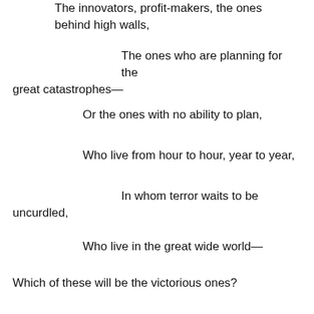The innovators, profit-makers, the ones behind high walls,
The ones who are planning for the great catastrophes—
Or the ones with no ability to plan,
Who live from hour to hour, year to year,
In whom terror waits to be uncurdled,
Who live in the great wide world—
Which of these will be the victorious ones?
Nobody knows.